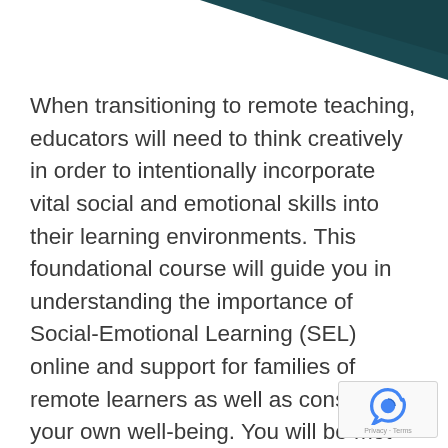[Figure (other): Dark teal/navy decorative header graphic in top-right corner]
When transitioning to remote teaching, educators will need to think creatively in order to intentionally incorporate vital social and emotional skills into their learning environments. This foundational course will guide you in understanding the importance of Social-Emotional Learning (SEL) online and support for families of remote learners as well as considering your own well-being. You will be met with ways to address social-emotional needs for your students including trauma-informed teaching resources and strategies for you to